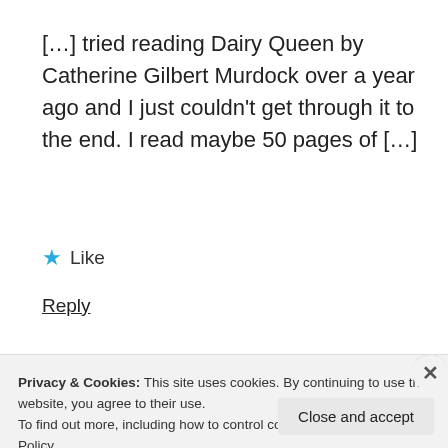[…] tried reading Dairy Queen by Catherine Gilbert Murdock over a year ago and I just couldn't get through it to the end. I read maybe 50 pages of […]
★ Like
Reply
The Reader Confession Tag | Nut Free
Privacy & Cookies: This site uses cookies. By continuing to use this website, you agree to their use.
To find out more, including how to control cookies, see here: Cookie Policy